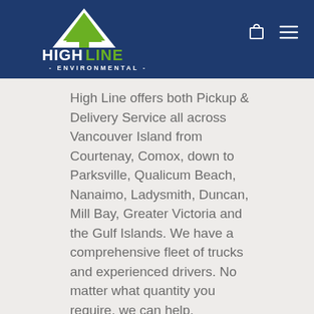[Figure (logo): Highline Environmental logo: white triangle/mountain with green tree, text HIGHLINE in large letters (HIGH in white, LINE in green), ENVIRONMENTAL below in white small caps]
High Line offers both Pickup & Delivery Service all across Vancouver Island from Courtenay, Comox, down to Parksville, Qualicum Beach, Nanaimo, Ladysmith, Duncan, Mill Bay, Greater Victoria and the Gulf Islands. We have a comprehensive fleet of trucks and experienced drivers. No matter what quantity you require, we can help.